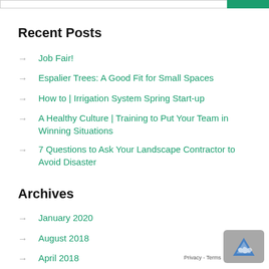Recent Posts
Job Fair!
Espalier Trees: A Good Fit for Small Spaces
How to | Irrigation System Spring Start-up
A Healthy Culture | Training to Put Your Team in Winning Situations
7 Questions to Ask Your Landscape Contractor to Avoid Disaster
Archives
January 2020
August 2018
April 2018
March 2018